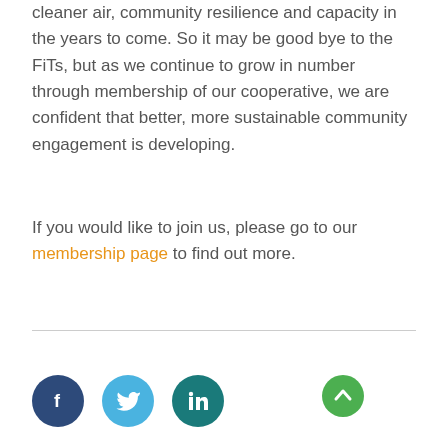cleaner air, community resilience and capacity in the years to come. So it may be good bye to the FiTs, but as we continue to grow in number through membership of our cooperative, we are confident that better, more sustainable community engagement is developing.
If you would like to join us, please go to our membership page to find out more.
[Figure (other): Social media icons: Facebook (dark blue circle), Twitter (light blue circle), LinkedIn (teal circle), plus reCAPTCHA widget and scroll-to-top green button]